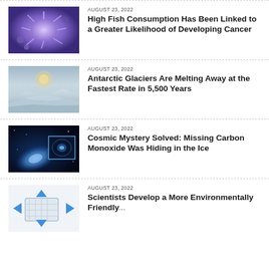[Figure (photo): Purple/violet microscopic image of a cancer cell with spiky protrusions]
AUGUST 23, 2022
High Fish Consumption Has Been Linked to a Greater Likelihood of Developing Cancer
[Figure (photo): Aerial view of Antarctic ice sheets and glaciers with misty atmosphere]
AUGUST 23, 2022
Antarctic Glaciers Are Melting Away at the Fastest Rate in 5,500 Years
[Figure (photo): Space image showing a galaxy with a zoomed inset of a cosmic object]
AUGUST 23, 2022
Cosmic Mystery Solved: Missing Carbon Monoxide Was Hiding in the Ice
[Figure (photo): Illustration of an environmentally friendly device with blue arrows]
AUGUST 23, 2022
Scientists Develop a More Environmentally Friendly...